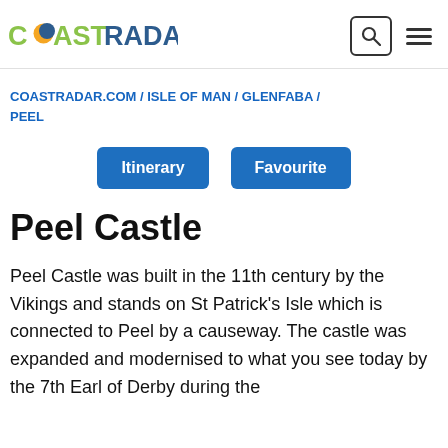COAST RADAR
COASTRADAR.COM / ISLE OF MAN / GLENFABA / PEEL
Itinerary   Favourite
Peel Castle
Peel Castle was built in the 11th century by the Vikings and stands on St Patrick's Isle which is connected to Peel by a causeway. The castle was expanded and modernised to what you see today by the 7th Earl of Derby during the English Civil War.